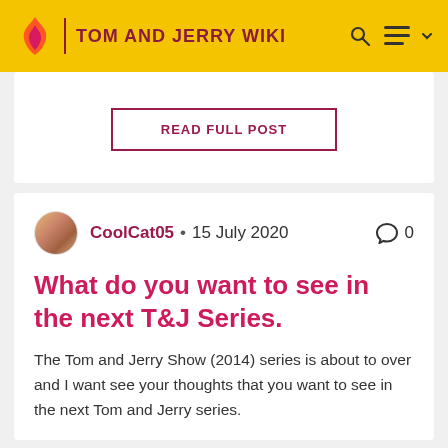TOM AND JERRY WIKI
READ FULL POST
CoolCat05 • 15 July 2020  0
What do you want to see in the next T&J Series.
The Tom and Jerry Show (2014) series is about to over and I want see your thoughts that you want to see in the next Tom and Jerry series.